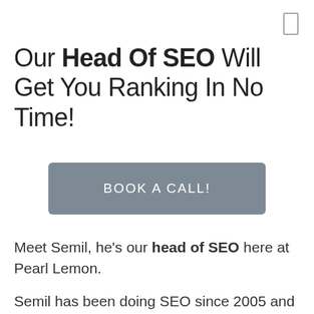[Figure (other): Small rectangle icon in top-right corner]
Our Head Of SEO Will Get You Ranking In No Time!
BOOK A CALL!
Meet Semil, he's our head of SEO here at Pearl Lemon.
Semil has been doing SEO since 2005 and has managed hundreds of successful SEO